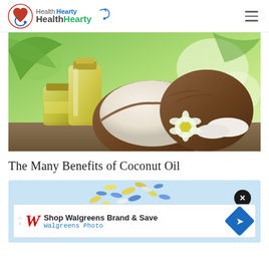HealthHearty
[Figure (photo): Coconut oil in glass bottles with halved coconut, coconut pieces, and a white flower on a wooden surface with tropical green leaves in background]
The Many Benefits of Coconut Oil
[Figure (screenshot): Advertisement: Shop Walgreens Brand & Save - Walgreens Photo, with colorful pills background and Walgreens W logo, close button, and navigation arrow]